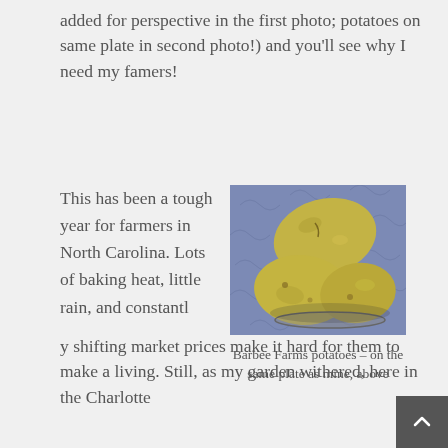added for perspective in the first photo; potatoes on same plate in second photo!) and you'll see why I need my famers!
This has been a tough year for farmers in North Carolina. Lots of baking heat, little rain, and constantly shifting market prices make it hard for them to make a living. Still, as my garden withered, here in the Charlotte
[Figure (photo): Photo of several yellow-gold potatoes stacked in a bowl on a blue patterned fabric surface]
Barbee Farms potatoes – on the same plate as mine, above